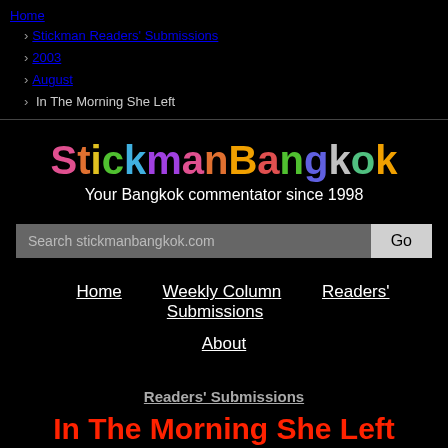Home › Stickman Readers' Submissions › 2003 › August › In The Morning She Left
StickmanBangkok — Your Bangkok commentator since 1998
[Figure (screenshot): Search bar with placeholder 'Search stickmanbangkok.com' and a Go button]
Home
Weekly Column
Readers' Submissions
About
Readers' Submissions
In The Morning She Left